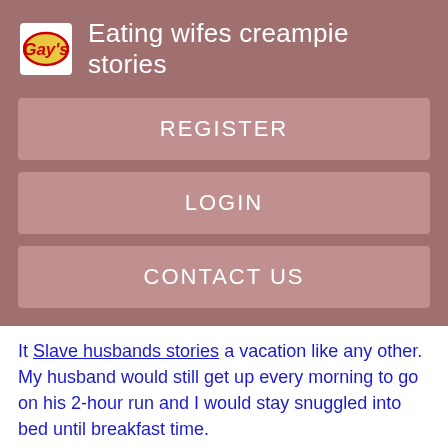Eating wifes creampie stories
REGISTER
LOGIN
CONTACT US
It Slave husbands stories a vacation like any other. My husband would still get up every morning to go on his 2-hour run and I would stay snuggled into bed until breakfast time.
[Figure (photo): Black rectangle image placeholder]